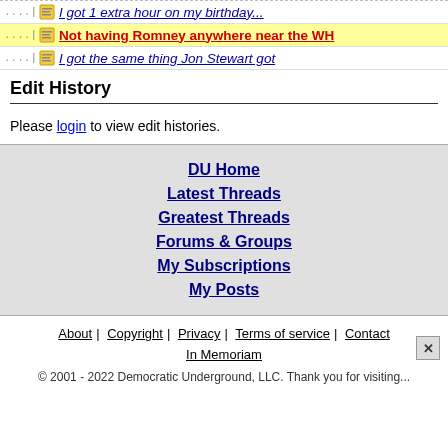I got 1 extra hour on my birthday...
Not having Romney anywhere near the WH
I got the same thing Jon Stewart got
Edit History
Please login to view edit histories.
DU Home
Latest Threads
Greatest Threads
Forums & Groups
My Subscriptions
My Posts
About | Copyright | Privacy | Terms of service | Contact
In Memoriam
© 2001 - 2022 Democratic Underground, LLC. Thank you for visiting...